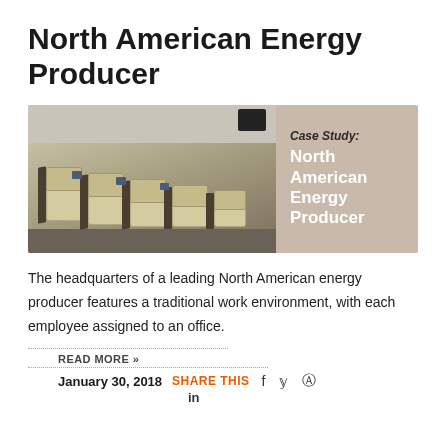North American Energy Producer
[Figure (photo): Photo of a modern office waiting area with tiered cream/beige modular sofa seating with dark dividers, alongside a case study banner reading 'Case Study: North American Energy Producer' on a taupe background.]
The headquarters of a leading North American energy producer features a traditional work environment, with each employee assigned to an office.
READ MORE »
January 30, 2018   SHARE THIS  f  y  ®  in